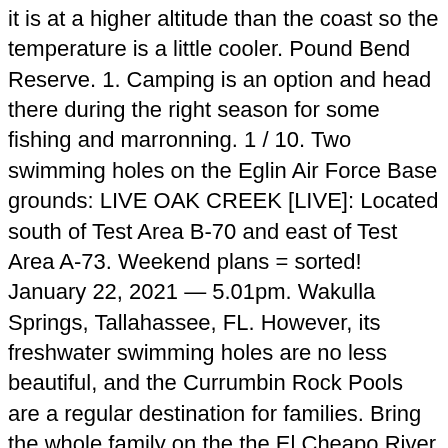it is at a higher altitude than the coast so the temperature is a little cooler. Pound Bend Reserve. 1. Camping is an option and head there during the right season for some fishing and marronning. 1 / 10. Two swimming holes on the Eglin Air Force Base grounds: LIVE OAK CREEK [LIVE]: Located south of Test Area B-70 and east of Test Area A-73. Weekend plans = sorted! January 22, 2021 — 5.01pm. Wakulla Springs, Tallahassee, FL. However, its freshwater swimming holes are no less beautiful, and the Currumbin Rock Pools are a regular destination for families. Bring the whole family on the the El Cheapo River Swim Pool Tour, a three-hour guided tour along the Wailua River that includes a visit to the Fern Grotto swimming hole, which features a cliff-diving platform. Despite the gnarly history, this deep swimming hole in Ned Kelly country (located on the Seven Creeks) offers a welcome respite from the heat. My best picks for getting wet are: 1. But give yourself a few days before rushing off as the creeks get quite brown. Freshwater swimming holes dot Kauai, but some of them are closed to the public or on private property.